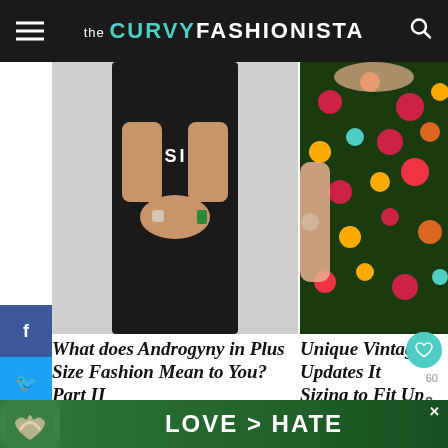the CURVY FASHIONISTA
[Figure (photo): Person wearing black RESIST t-shirt with hands clasped]
[Figure (photo): Close-up of woman in colorful floral dress]
What does Androgyny in Plus Size Fashion Mean to You? Part II
Unique Vintage Updates It Sizing to Fit Up to a TRUE 4X
[Figure (photo): Thumbnail image for What's Next article: Show Me! Style Me: 7+...]
[Figure (photo): Bottom left article image placeholder]
[Figure (photo): Bottom right article image - wooden box]
[Figure (photo): Ad banner: hands making heart shape with LOVE > HATE text]